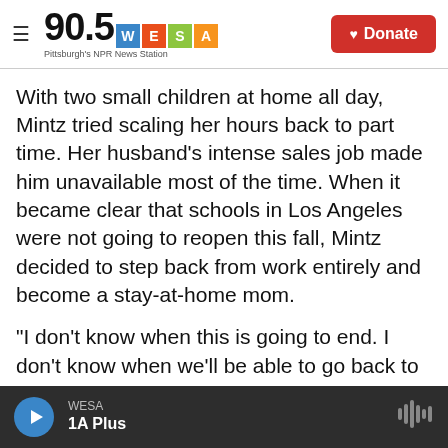[Figure (logo): 90.5 WESA Pittsburgh's NPR News Station logo with colored letter tiles and a red Donate button]
With two small children at home all day, Mintz tried scaling her hours back to part time. Her husband's intense sales job made him unavailable most of the time. When it became clear that schools in Los Angeles were not going to reopen this fall, Mintz decided to step back from work entirely and become a stay-at-home mom.
"I don't know when this is going to end. I don't know when we'll be able to go back to something that resembled normal. But I do worry that when I get to that point, I'll have had this gap," she says.
WESA / 1A Plus